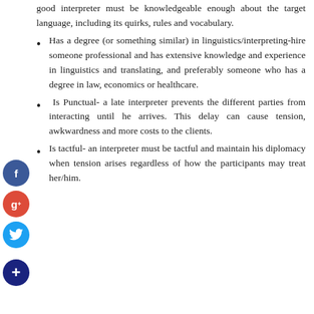good interpreter must be knowledgeable enough about the target language, including its quirks, rules and vocabulary.
Has a degree (or something similar) in linguistics/interpreting-hire someone professional and has extensive knowledge and experience in linguistics and translating, and preferably someone who has a degree in law, economics or healthcare.
Is Punctual- a late interpreter prevents the different parties from interacting until he arrives. This delay can cause tension, awkwardness and more costs to the clients.
Is tactful- an interpreter must be tactful and maintain his diplomacy when tension arises regardless of how the participants may treat her/him.